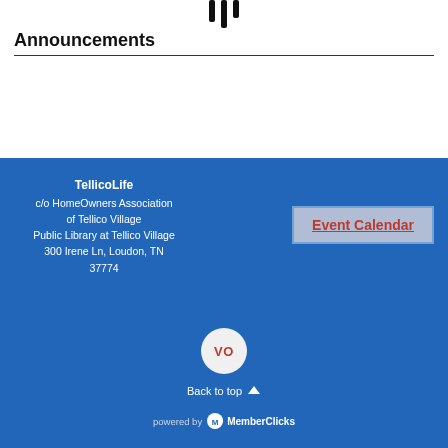[Figure (illustration): Partial dark silhouette icon at top center, cut off at page edge]
Announcements
TellicoLife
c/o HomeOwners Association of Tellico Village
Public Library at Tellico Village
300 Irene Ln, Loudon, TN 37774
Event Calendar
[Figure (other): Circular badge with initials VO in red on light gray background]
Back to top
powered by MemberClicks